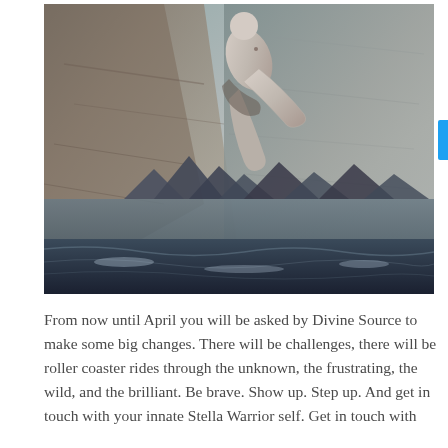[Figure (photo): A dramatic artistic photograph showing a figure (human body) falling or floating above a dark, moody landscape with mountains and ocean or water below, with a large grey/white background resembling stone or sky. The image has a surreal, painterly quality with dark blues and greys.]
From now until April you will be asked by Divine Source to make some big changes. There will be challenges, there will be roller coaster rides through the unknown, the frustrating, the wild, and the brilliant. Be brave. Show up. Step up. And get in touch with your innate Stella Warrior self. Get in touch with